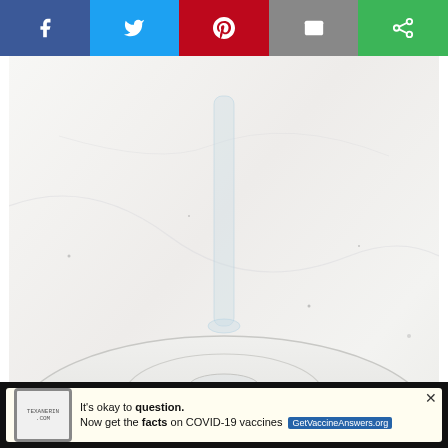[Figure (other): Social media share bar with Facebook (blue), Twitter (light blue), Pinterest (red), Email (gray), and another share option (green) buttons across the top]
[Figure (photo): Close-up photo of a white marble cake stand or pedestal with a glass stem, showing marble texture with dark flecks. Watermark reads TEXANERIN.COM]
[Figure (other): Advertisement banner: Foster Adopt Rescue Advocate with a beagle dog photo on dark teal background]
oll
o
p
[Figure (other): Bottom advertisement bar on black background: 'It's okay to question. Now get the facts on COVID-19 vaccines GetVaccineAnswers.org' on yellow/white background with a stamp logo]